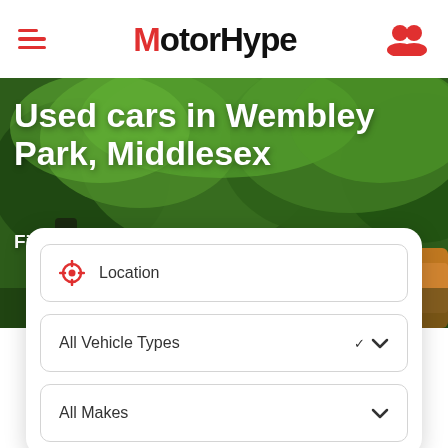MotorHype
Used cars in Wembley Park, Middlesex
Find used cars for sale in Wembley Park
Location
All Vehicle Types
All Makes